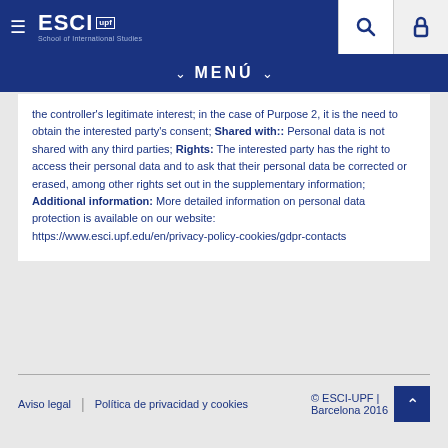ESCI UPF School of International Studies — Navigation header with hamburger menu, search and login icons
MENÚ
the controller's legitimate interest; in the case of Purpose 2, it is the need to obtain the interested party's consent; Shared with:: Personal data is not shared with any third parties; Rights: The interested party has the right to access their personal data and to ask that their personal data be corrected or erased, among other rights set out in the supplementary information; Additional information: More detailed information on personal data protection is available on our website: https://www.esci.upf.edu/en/privacy-policy-cookies/gdpr-contacts
Aviso legal | Política de privacidad y cookies | © ESCI-UPF | Barcelona 2016